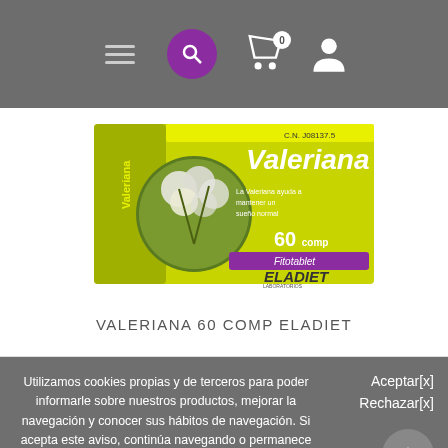Navigation bar with hamburger menu, search, cart (0), and user icon
[Figure (photo): Product image of Valeriana 60 comp ELADIET supplement box — yellow-green packaging with white valerian flowers and ELADIET brand logo]
VALERIANA 60 COMP ELADIET
Utilizamos cookies propias y de terceros para poder informarle sobre nuestros productos, mejorar la navegación y conocer sus hábitos de navegación. Si acepta este aviso, continúa navegando o permanece en la web, consideraremos que acepta su uso. Puede obtener más información, o bien conocer cómo cambiar la configuración. Política de Cookies.
Aceptar[x] Rechazar[x]